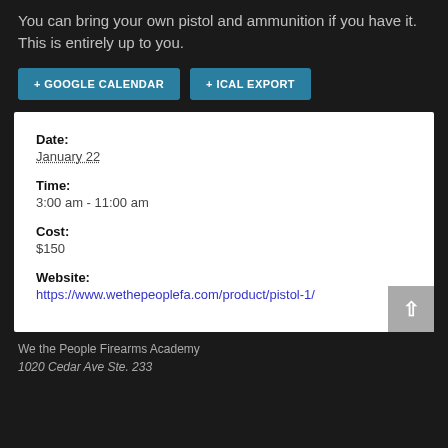You can bring your own pistol and ammunition if you have it. This is entirely up to you.
+ GOOGLE CALENDAR  + ICAL EXPORT
Date: January 22
Time: 3:00 am - 11:00 am
Cost: $150
Website: https://www.wethepeoplefa.com/product/pistol-1/
We the People Firearms Academy
1020 Cedar Ave Ste. 233